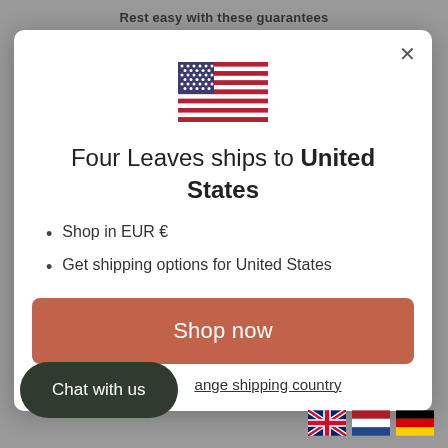Rest easy with these guarantees
[Figure (illustration): US flag emoji/illustration centered in modal]
Four Leaves ships to United States
Shop in EUR €
Get shipping options for United States
Shop now
ange shipping country
Chat with us